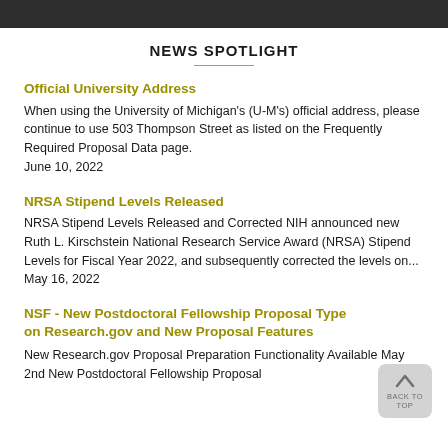NEWS SPOTLIGHT
Official University Address
When using the University of Michigan's (U-M's) official address, please continue to use 503 Thompson Street as listed on the Frequently Required Proposal Data page. June 10, 2022
NRSA Stipend Levels Released
NRSA Stipend Levels Released and Corrected NIH announced new Ruth L. Kirschstein National Research Service Award (NRSA) Stipend Levels for Fiscal Year 2022, and subsequently corrected the levels on... May 16, 2022
NSF - New Postdoctoral Fellowship Proposal Type on Research.gov and New Proposal Features
New Research.gov Proposal Preparation Functionality Available May 2nd New Postdoctoral Fellowship Proposal